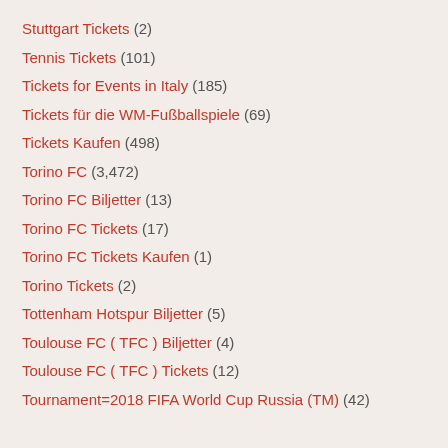Stuttgart Tickets (2)
Tennis Tickets (101)
Tickets for Events in Italy (185)
Tickets für die WM-Fußballspiele (69)
Tickets Kaufen (498)
Torino FC (3,472)
Torino FC Biljetter (13)
Torino FC Tickets (17)
Torino FC Tickets Kaufen (1)
Torino Tickets (2)
Tottenham Hotspur Biljetter (5)
Toulouse FC ( TFC ) Biljetter (4)
Toulouse FC ( TFC ) Tickets (12)
Tournament=2018 FIFA World Cup Russia (TM) (42)